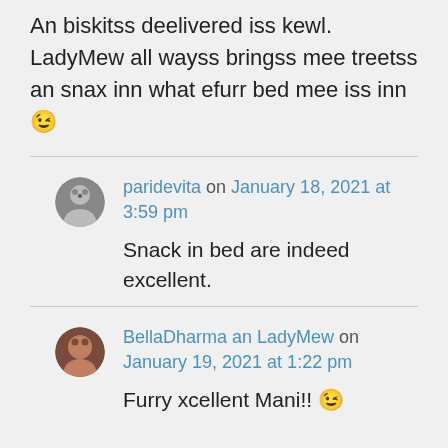An biskitss deelivered iss kewl. LadyMew all wayss bringss mee treetss an snax inn what efurr bed mee iss inn 😉
paridevita on January 18, 2021 at 3:59 pm
Snack in bed are indeed excellent.
BellaDharma an LadyMew on January 19, 2021 at 1:22 pm
Furry xcellent Mani!! 😉